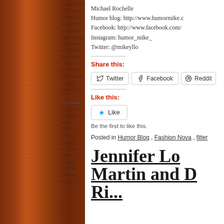Michael Rochelle
Humor blog: http://www.humormike.c...
Facebook: http://www.facebook.com/...
Instagram: humor_mike_
Twitter: @mikeyllo
Share this:
Twitter   Facebook   Reddit
Like this:
Like
Be the first to like this.
Posted in Humor Blog , Fashion Nova , filter...
Jennifer Lop... Martin and D... Ri...